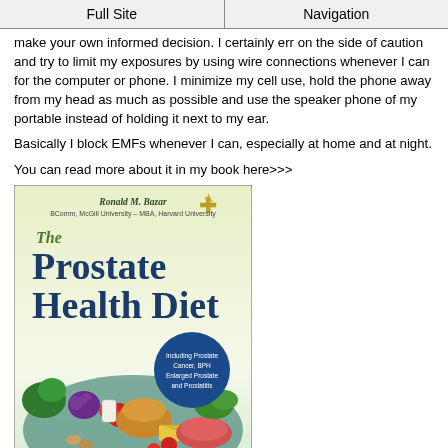Full Site | Navigation
make your own informed decision. I certainly err on the side of caution and try to limit my exposures by using wire connections whenever I can for the computer or phone. I minimize my cell use, hold the phone away from my head as much as possible and use the speaker phone of my portable instead of holding it next to my ear.
Basically I block EMFs whenever I can, especially at home and at night.
You can read more about it in my book here>>>
[Figure (illustration): Book cover for 'The Prostate Health Diet' by Ronald M. Bazar, BComm McGill University - MBA Harvard University. Subtitle: What To Eat To Prevent and Heal Prostate Problems. Including Prostate Cancer, BPH Enlarged Prostate and Prostatitis. Features image of various foods including vegetables, fruits, bread, cheese, meat.]